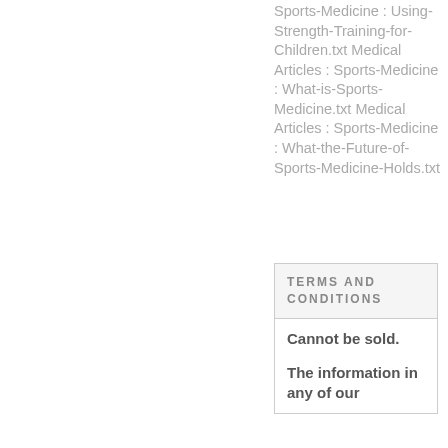Sports-Medicine : Using-Strength-Training-for-Children.txt Medical Articles : Sports-Medicine : What-is-Sports-Medicine.txt Medical Articles : Sports-Medicine : What-the-Future-of-Sports-Medicine-Holds.txt
TERMS AND CONDITIONS
Cannot be sold.

The information in any of our